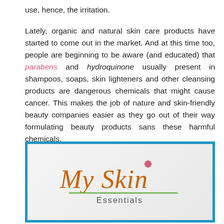use, hence, the irritation.
Lately, organic and natural skin care products have started to come out in the market. And at this time too, people are beginning to be aware (and educated) that parabens and hydroquinone usually present in shampoos, soaps, skin lighteners and other cleansing products are dangerous chemicals that might cause cancer. This makes the job of nature and skin-friendly beauty companies easier as they go out of their way formulating beauty products sans these harmful chemicals.
[Figure (logo): My Skin Essentials logo — cursive orange 'My Skin' text with a pink flower dot, green underline, and 'Essentials' in grey below, on a light grey gradient background with a blue border.]